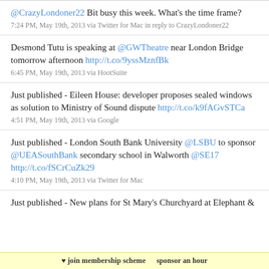@CrazyLondoner22 Bit busy this week. What's the time frame?
7:24 PM, May 19th, 2013 via Twitter for Mac in reply to CrazyLondoner22
Desmond Tutu is speaking at @GWTheatre near London Bridge tomorrow afternoon http://t.co/9yssMznfBk
6:45 PM, May 19th, 2013 via HootSuite
Just published - Eileen House: developer proposes sealed windows as solution to Ministry of Sound dispute http://t.co/k9fAGvSTCa
4:51 PM, May 19th, 2013 via Google
Just published - London South Bank University @LSBU to sponsor @UEASouthBank secondary school in Walworth @SE17 http://t.co/fSCrCuZk29
4:10 PM, May 19th, 2013 via Twitter for Mac
Just published - New plans for St Mary's Churchyard at Elephant &
♥ join membership scheme   sponsor an hour